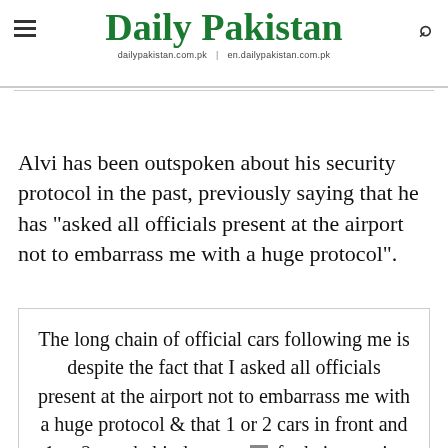Daily Pakistan
dailypakistan.com.pk | en.dailypakistan.com.pk
Alvi has been outspoken about his security protocol in the past, previously saying that he has "asked all officials present at the airport not to embarrass me with a huge protocol".
The long chain of official cars following me is despite the fact that I asked all officials present at the airport not to embarrass me with a huge protocol & that 1 or 2 cars in front and 1 or 2 cars behind may satisfy their security needs. Did not happen. We